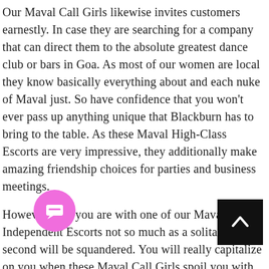Our Maval Call Girls likewise invites customers earnestly. In case they are searching for a company that can direct them to the absolute greatest dance club or bars in Goa. As most of our women are local they know basically everything about and each nuke of Maval just. So have confidence that you won't ever pass up anything unique that Blackburn has to bring to the table. As these Maval High-Class Escorts are very impressive, they additionally make amazing friendship choices for parties and business meetings.
However long you are with one of our Maval Independent Escorts not so much as a solitary second will be squandered. You will really capitalize on your when these Maval Call Girls spoil you with sensual abilities and devious acts.